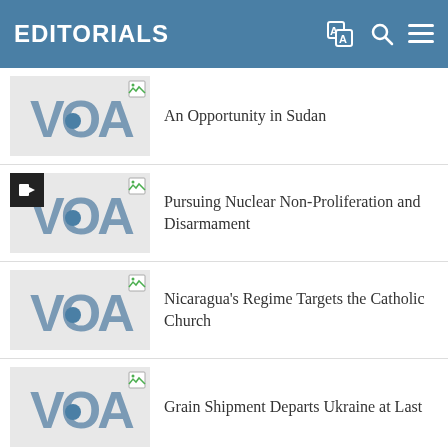EDITORIALS
An Opportunity in Sudan
Pursuing Nuclear Non-Proliferation and Disarmament
Nicaragua's Regime Targets the Catholic Church
Grain Shipment Departs Ukraine at Last